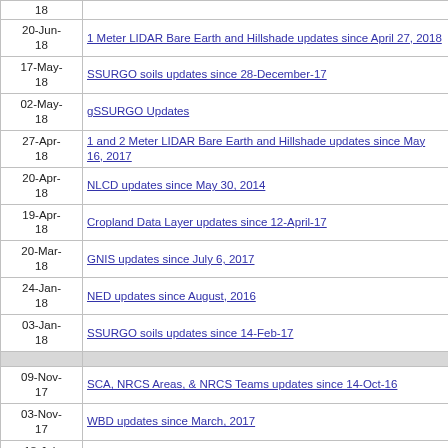| Date | Link |
| --- | --- |
| 18 |  |
| 20-Jun-18 | 1 Meter LIDAR Bare Earth and Hillshade updates since April 27, 2018 |
| 17-May-18 | SSURGO soils updates since 28-December-17 |
| 02-May-18 | gSSURGO Updates |
| 27-Apr-18 | 1 and 2 Meter LIDAR Bare Earth and Hillshade updates since May 16, 2017 |
| 20-Apr-18 | NLCD updates since May 30, 2014 |
| 19-Apr-18 | Cropland Data Layer updates since 12-April-17 |
| 20-Mar-18 | GNIS updates since July 6, 2017 |
| 24-Jan-18 | NED updates since August, 2016 |
| 03-Jan-18 | SSURGO soils updates since 14-Feb-17 |
| 09-Nov-17 | SCA, NRCS Areas, & NRCS Teams updates since 14-Oct-16 |
| 03-Nov-17 | WBD updates since March, 2017 |
| 18-Jul-17 | Census updates since September 9, 2016 |
| 06-Jul-17 | GNIS updates since April 20, 2017 |
| 23-Jun-17 | InterFerometric Synthetic Aperture Radar (IFSAR) high-resolution digital elevation since June 20, 2017 |
| 20-Jun-17 | InterFerometric Synthetic Aperture Radar (IFSAR) high-resolution digital elevation since June 6, 2017 |